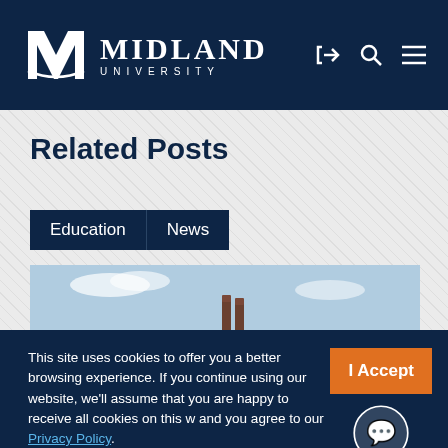Midland University
Related Posts
Education  News
[Figure (photo): Building rooftop with chimneys against a blue sky]
This site uses cookies to offer you a better browsing experience. If you continue using our website, we'll assume that you are happy to receive all cookies on this w and you agree to our Privacy Policy.